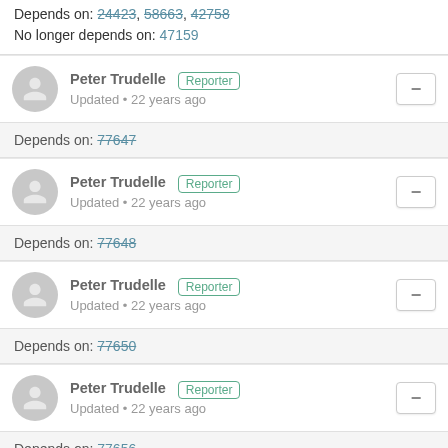Depends on: 24423, 58663, 42758
No longer depends on: 47159
Peter Trudelle [Reporter] Updated • 22 years ago
Depends on: 77647
Peter Trudelle [Reporter] Updated • 22 years ago
Depends on: 77648
Peter Trudelle [Reporter] Updated • 22 years ago
Depends on: 77650
Peter Trudelle [Reporter] Updated • 22 years ago
Depends on: 77656
Peter Trudelle [Reporter]